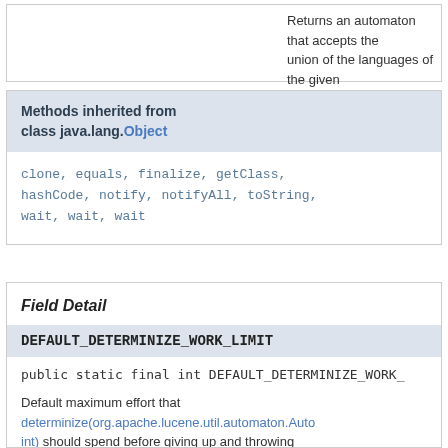Returns an automaton that accepts the union of the languages of the given automata.
Methods inherited from class java.lang.Object
clone, equals, finalize, getClass, hashCode, notify, notifyAll, toString, wait, wait, wait
Field Detail
DEFAULT_DETERMINIZE_WORK_LIMIT
public static final int DEFAULT_DETERMINIZE_WORK_
Default maximum effort that determinize(org.apache.lucene.util.automaton.Auto int) should spend before giving up and throwing TooComplexToDeterminizeException.